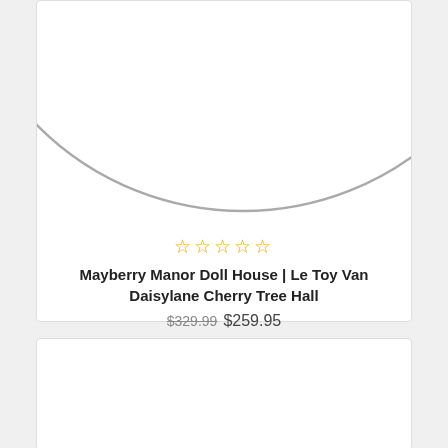[Figure (illustration): Bottom half of a circular product image placeholder — a gray circle outline visible at the top of the first card, cropped to show only the lower arc.]
☆☆☆☆☆
Mayberry Manor Doll House | Le Toy Van Daisylane Cherry Tree Hall
$329.99 $259.95
[Figure (photo): Second product card showing a mostly white/empty area — product image area not visible in this crop.]